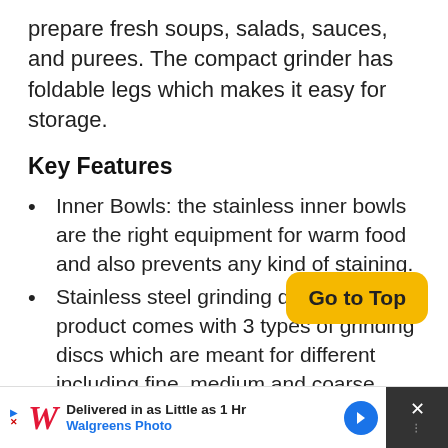prepare fresh soups, salads, sauces, and purees. The compact grinder has foldable legs which makes it easy for storage.
Key Features
Inner Bowls: the stainless inner bowls are the right equipment for warm food and also prevents any kind of staining.
Stainless steel grinding disc: the product comes with 3 types of grinding discs which are meant for different including fine, medium and coarse.
Easy disassembly: the grinder has a spring-loaded lever which allows easy
[Figure (other): Go to Top button overlay in yellow/amber color with rounded corners, positioned over the list content]
[Figure (other): Walgreens Photo advertisement banner at the bottom: 'Delivered in as Little as 1 Hr' with Walgreens Photo logo, a blue arrow icon, and a close button on the right]